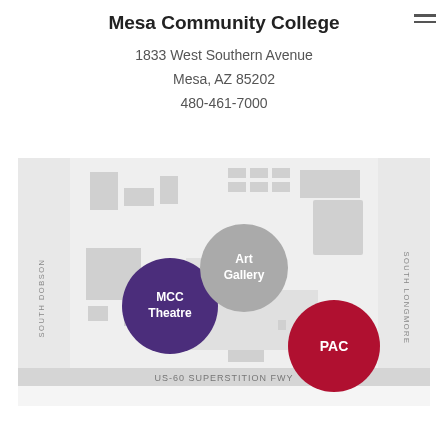Mesa Community College
1833 West Southern Avenue
Mesa, AZ 85202
480-461-7000
[Figure (map): Campus map of Mesa Community College showing MCC Theatre (purple circle), Art Gallery (gray circle), and PAC (red circle), with South Dobson on the west, South Longmore on the east, and US-60 Superstition Fwy along the south.]